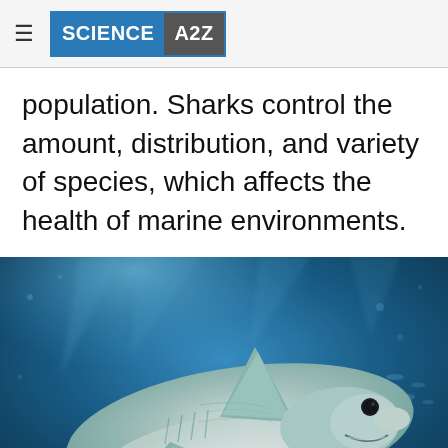SCIENCE A2Z
population. Sharks control the amount, distribution, and variety of species, which affects the health of marine environments.
[Figure (photo): Underwater photograph of a great white shark swimming toward the camera in deep blue ocean water, with other smaller fish visible in the background.]